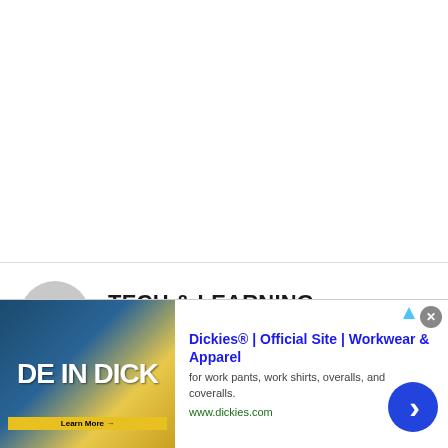[Figure (illustration): White blank space at top of page]
TECH & LEARNING NEWSLETTER
Tools and ideas to transform education.
Sign up below.
[Figure (screenshot): Advertisement banner: Dickies® | Official Site | Workwear & Apparel — for work pants, work shirts, overalls, and coveralls. www.dickies.com]